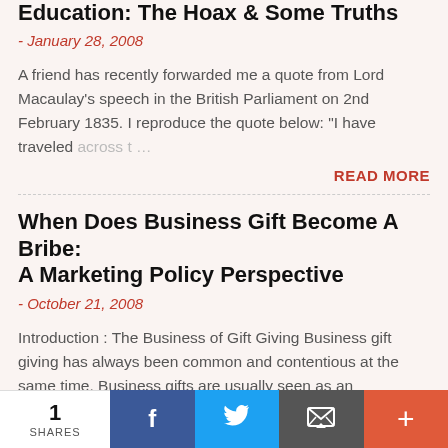Education: The Hoax & Some Truths
- January 28, 2008
A friend has recently forwarded me a quote from Lord Macaulay's speech in the British Parliament on 2nd February 1835. I reproduce the quote below: "I have traveled across t…
READ MORE
When Does Business Gift Become A Bribe: A Marketing Policy Perspective
- October 21, 2008
Introduction : The Business of Gift Giving Business gift giving has always been common and contentious at the same time. Business gifts are usually seen as an 'advertising, sales…
1 SHARES | Facebook | Twitter | Email | +